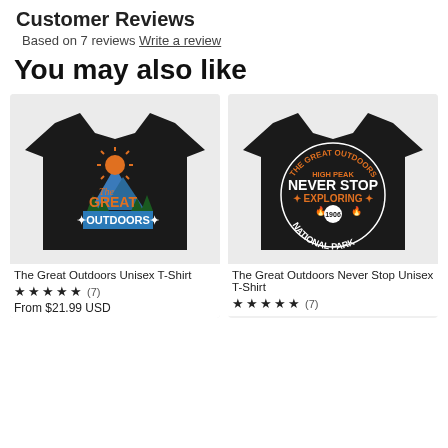Customer Reviews
Based on 7 reviews Write a review
You may also like
[Figure (photo): Black unisex t-shirt with 'The Great Outdoors' graphic featuring mountains, pine trees, and an orange sun design.]
[Figure (photo): Black unisex t-shirt with 'The Great Outdoors High Peak Never Stop Exploring 1906 National Park' circular graphic in orange and white.]
The Great Outdoors Unisex T-Shirt
★ ★ ★ ★ ★ (7)
From $21.99 USD
The Great Outdoors Never Stop Unisex T-Shirt
★ ★ ★ ★ ★ (7)